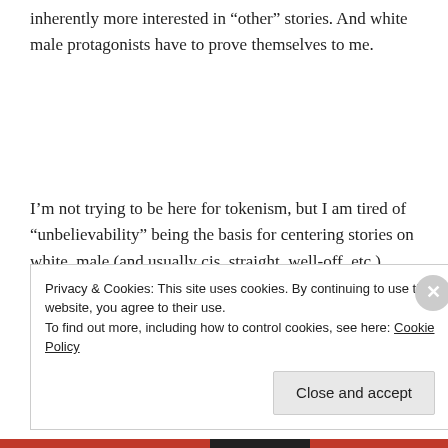inherently more interested in “other” stories. And white male protagonists have to prove themselves to me.
I’m not trying to be here for tokenism, but I am tired of “unbelievability” being the basis for centering stories on white, male (and usually cis, straight, well-off, etc.). “Boyhood” won me over, but had its
Privacy & Cookies: This site uses cookies. By continuing to use this website, you agree to their use.
To find out more, including how to control cookies, see here: Cookie Policy